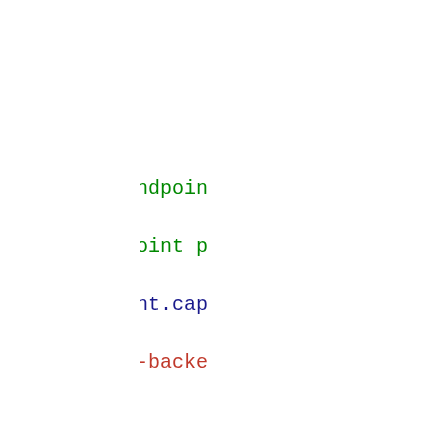[Figure (screenshot): Code snippet showing TypeScript Angular component code including ngOnInit, validate methods, captcha endpoint setup, and form submission with subscribe pattern. Syntax highlighted with blue keywords, green comments, and red strings. Some lines highlighted in green background.]